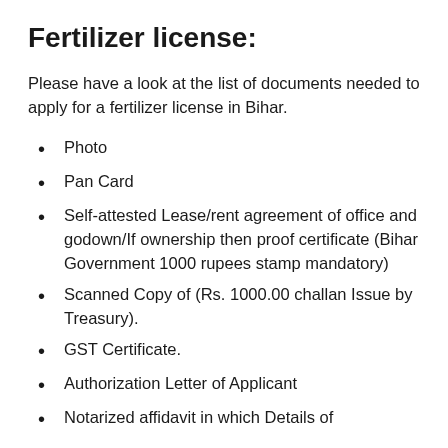Fertilizer license:
Please have a look at the list of documents needed to apply for a fertilizer license in Bihar.
Photo
Pan Card
Self-attested Lease/rent agreement of office and godown/If ownership then proof certificate (Bihar Government 1000 rupees stamp mandatory)
Scanned Copy of (Rs. 1000.00 challan Issue by Treasury).
GST Certificate.
Authorization Letter of Applicant
Notarized affidavit in which Details of